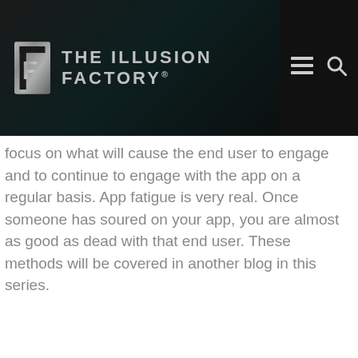[Figure (logo): The Illusion Factory website header with metallic IF logo on dark background, brand name 'THE ILLUSION FACTORY®', hamburger menu icon, and search icon]
focus on what will cause the end user to engage and to continue to engage with the app on a regular basis. App fatigue is very real. Once someone has soured on your app, you are almost as good as dead with that end user. These methods will be covered in another blog in this series.